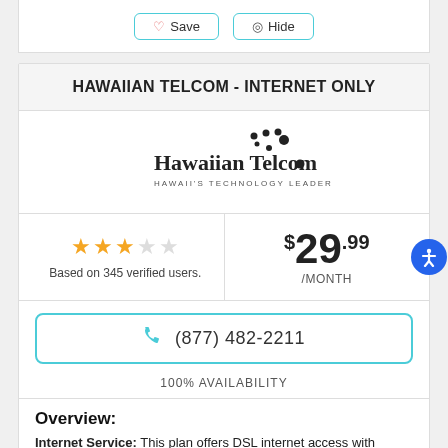[Figure (logo): Save and Hide buttons at top of card]
HAWAIIAN TELCOM - INTERNET ONLY
[Figure (logo): Hawaiian Telcom logo with dots and tagline HAWAII'S TECHNOLOGY LEADER]
2.5 stars based on 345 verified users.
$29.99 /MONTH
(877) 482-2211
100% AVAILABILITY
Overview:
Internet Service: This plan offers DSL internet access with download speeds of 20 mbps and 3 upload speeds.